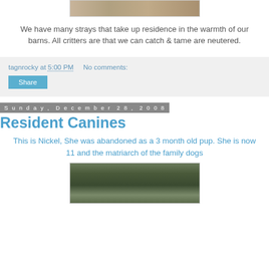[Figure (photo): Partial photo at top of page showing animals in a barn setting, cropped]
We have many strays that take up residence in the warmth of our barns. All critters are that we can catch & tame are neutered.
tagnrocky at 5:00 PM   No comments:
Share
Sunday, December 28, 2008
Resident Canines
This is Nickel, She was abandoned as a 3 month old pup. She is now 11 and the matriarch of the family dogs
[Figure (photo): Photo of a dog named Nickel outdoors among bare winter trees]